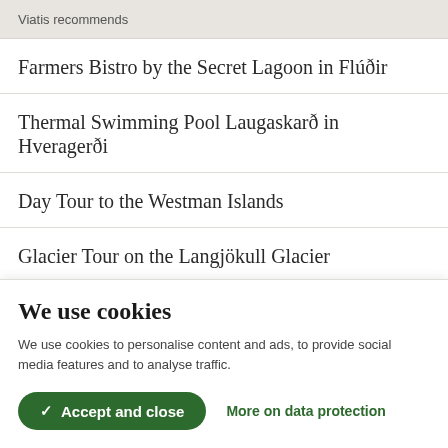Viatis recommends
Farmers Bistro by the Secret Lagoon in Flúðir
Thermal Swimming Pool Laugaskarð in Hveragerði
Day Tour to the Westman Islands
Glacier Tour on the Langjökull Glacier
We use cookies
We use cookies to personalise content and ads, to provide social media features and to analyse traffic.
✓ Accept and close   More on data protection